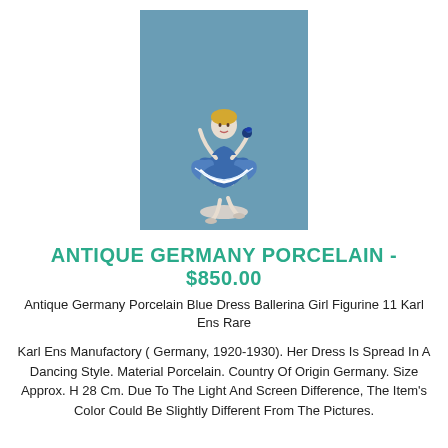[Figure (photo): Antique Germany porcelain ballerina figurine in a blue dress, dancing pose, on a grey-blue background.]
ANTIQUE GERMANY PORCELAIN - $850.00
Antique Germany Porcelain Blue Dress Ballerina Girl Figurine 11 Karl Ens Rare
Karl Ens Manufactory ( Germany, 1920-1930). Her Dress Is Spread In A Dancing Style. Material Porcelain. Country Of Origin Germany. Size Approx. H 28 Cm. Due To The Light And Screen Difference, The Item's Color Could Be Slightly Different From The Pictures.